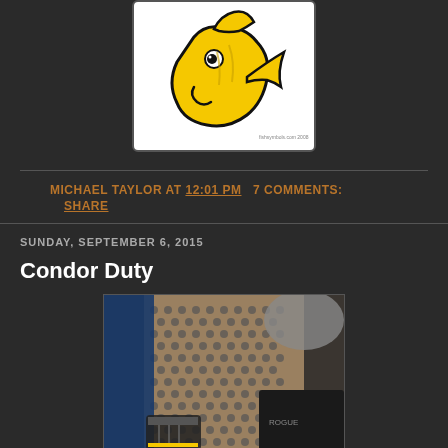[Figure (illustration): Yellow cartoon fish logo on white background with black border, rounded rectangle frame]
MICHAEL TAYLOR AT 12:01 PM  7 COMMENTS:  SHARE
SUNDAY, SEPTEMBER 6, 2015
Condor Duty
[Figure (photo): Close-up photo of feet/shoes on metal mesh grating, with blue pants and dark equipment visible]